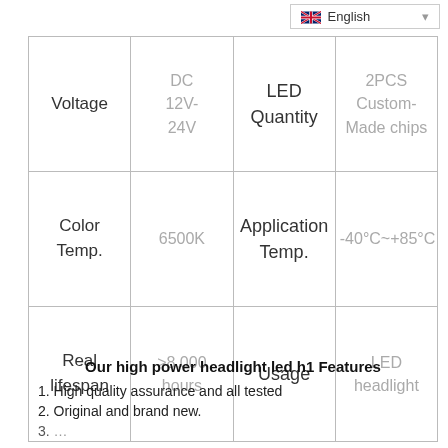| Feature | Value | Feature | Value |
| --- | --- | --- | --- |
| Voltage | DC 12V-24V | LED Quantity | 2PCS Custom-Made chips |
| Color Temp. | 6500K | Application Temp. | -40°C~+85°C |
| Real lifespan | >8,000 hours | Usage | LED headlight |
Our high power headlight led h1 Features
1. High quality assurance and all tested
2. Original and brand new.
3. …